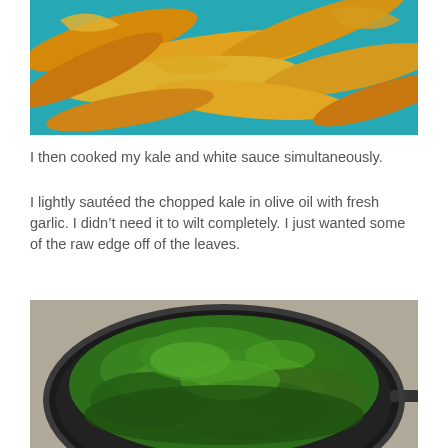[Figure (photo): Photo of yellow/orange squash ribbons or peeled strips on a teal/blue background]
I then cooked my kale and white sauce simultaneously.
I lightly sautéed the chopped kale in olive oil with fresh garlic. I didn't need it to wilt completely. I just wanted some of the raw edge off of the leaves.
[Figure (photo): Photo of chopped kale being sautéed in a dark cast iron skillet]